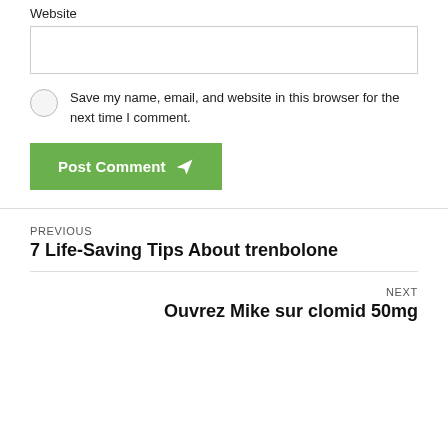Website
Save my name, email, and website in this browser for the next time I comment.
Post Comment
PREVIOUS
7 Life-Saving Tips About trenbolone
NEXT
Ouvrez Mike sur clomid 50mg